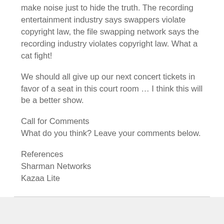make noise just to hide the truth. The recording entertainment industry says swappers violate copyright law, the file swapping network says the recording industry violates copyright law. What a cat fight!
We should all give up our next concert tickets in favor of a seat in this court room … I think this will be a better show.
Call for Comments
What do you think? Leave your comments below.
References
Sharman Networks
Kazaa Lite